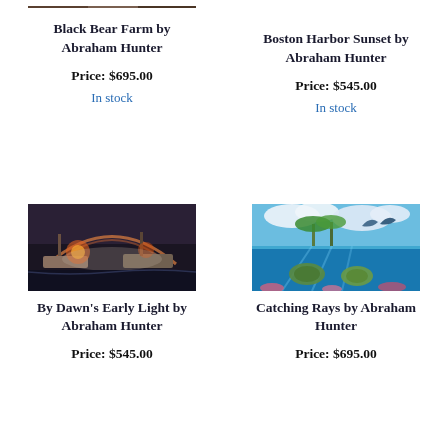[Figure (illustration): Top portion of a painting - Black Bear Farm by Abraham Hunter, partially cropped at top]
Black Bear Farm by Abraham Hunter
Price: $695.00
In stock
[Figure (illustration): Painting - Boston Harbor Sunset by Abraham Hunter]
Boston Harbor Sunset by Abraham Hunter
Price: $545.00
In stock
[Figure (illustration): Painting - By Dawn's Early Light by Abraham Hunter, ships with rainbow and fire]
By Dawn's Early Light by Abraham Hunter
Price: $545.00
[Figure (illustration): Painting - Catching Rays by Abraham Hunter, dolphins and underwater sea turtles with tropical island]
Catching Rays by Abraham Hunter
Price: $695.00